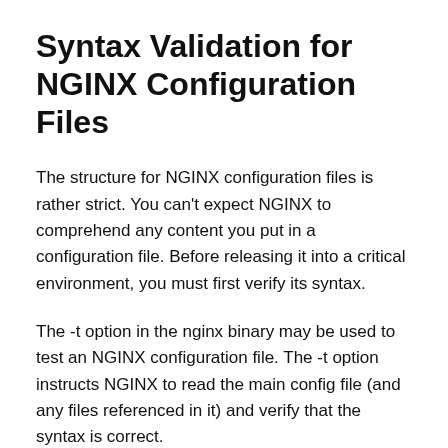Syntax Validation for NGINX Configuration Files
The structure for NGINX configuration files is rather strict. You can't expect NGINX to comprehend any content you put in a configuration file. Before releasing it into a critical environment, you must first verify its syntax.
The -t option in the nginx binary may be used to test an NGINX configuration file. The -t option instructs NGINX to read the main config file (and any files referenced in it) and verify that the syntax is correct.